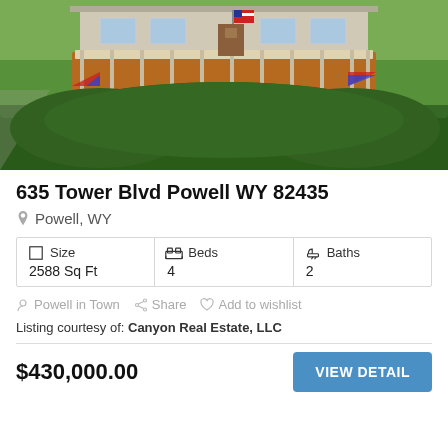[Figure (photo): Exterior photo of a house with a wooden deck, white railing, American flag, surrounded by green lawn and large hedge/shrubs in the foreground]
635 Tower Blvd Powell WY 82435
Powell, WY
| Size | Beds | Baths |
| --- | --- | --- |
| 2588 Sq Ft | 4 | 2 |
Powell in Town   Share   Add to wishlist
Listing courtesy of: Canyon Real Estate, LLC
$430,000.00
VIEW DETAIL